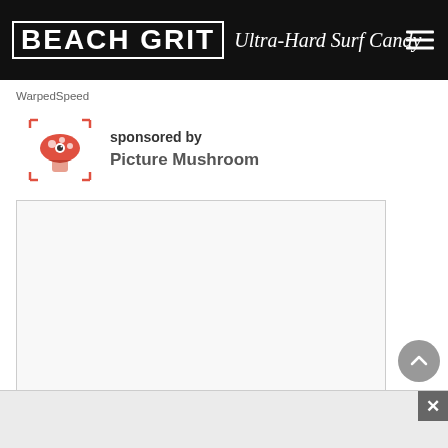BEACH GRIT Ultra-Hard Surf Candy
WarpedSpeed
sponsored by Picture Mushroom
[Figure (screenshot): Empty white advertisement content box with light border]
[Figure (screenshot): Bottom advertisement strip with close (X) button]